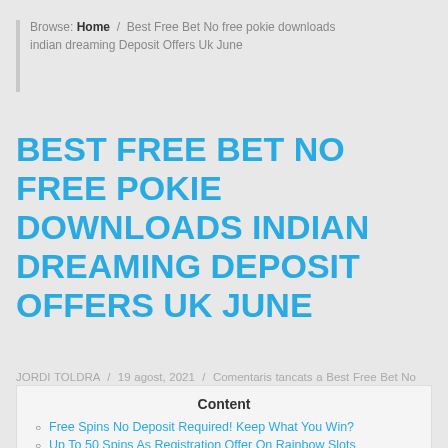Browse: Home / Best Free Bet No free pokie downloads indian dreaming Deposit Offers Uk June
BEST FREE BET NO FREE POKIE DOWNLOADS INDIAN DREAMING DEPOSIT OFFERS UK JUNE
JORDI TOLDRA / 19 agost, 2021 / Comentaris tancats a Best Free Bet No free pokie downloads indian dreaming Deposit Offers Uk June / noticies
Content
Free Spins No Deposit Required! Keep What You Win?
Up To 50 Spins As Registration Offer On Rainbow Slots